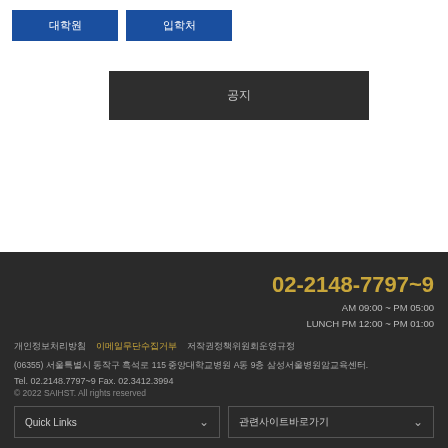대학원
입학처
공지
02-2148-7797~9
AM 09:00 ~ PM 05:00
LUNCH PM 12:00 ~ PM 01:00
개인정보처리방침 이메일무단수집거부
(06355) 서울특별시 동작구 흑석로 115 중앙대학교 A동 9층 삼성서울병원암교육센터.
Tel. 02.2148.7797~9 Fax. 02.3412.3994
© 2022 SAIHST. All rights reserved
Quick Links
관련사이트바로가기